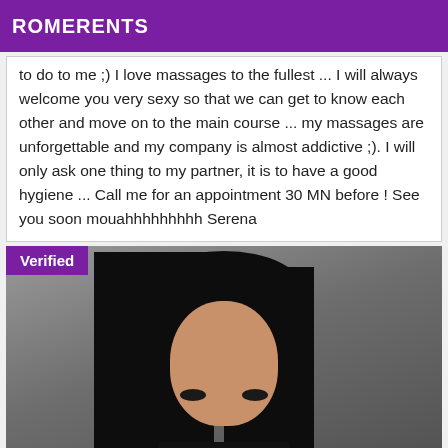ROMERENTS
to do to me ;) I love massages to the fullest ... I will always welcome you very sexy so that we can get to know each other and move on to the main course ... my massages are unforgettable and my company is almost addictive ;). I will only ask one thing to my partner, it is to have a good hygiene ... Call me for an appointment 30 MN before ! See you soon mouahhhhhhhhh Serena
[Figure (photo): Photo of a woman with long dark hair, wearing a black outfit, with a 'Verified' badge in the top-left corner on a grey background.]